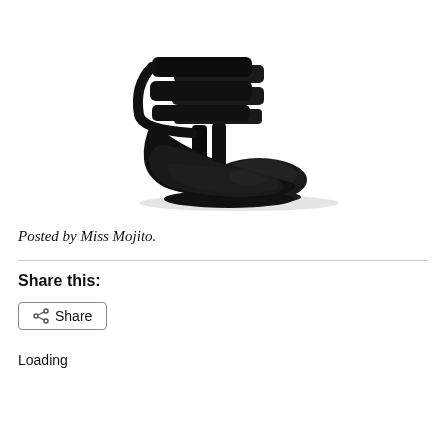[Figure (photo): A pair of black high-heel slingback shoes with multiple wide elastic straps across the vamp, patent leather toe cap, and stiletto heel, photographed on a white background.]
Posted by Miss Mojito.
Share this:
Share
Loading